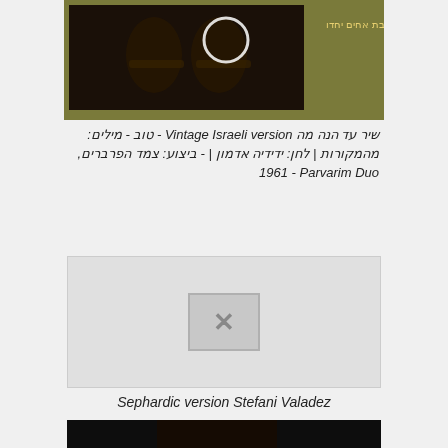[Figure (screenshot): Thumbnail of vintage Israeli guitar duo album cover with golden-olive background and Hebrew text שבת אחים יחדו]
שיר עד הנה מה Vintage Israeli version - טוב - מילים: מהמקורות | לחן: ידידיה אדמון | - ביצוע: צמד הפרברים, 1961 Parvarim Duo
[Figure (screenshot): Broken/unavailable video thumbnail placeholder with X icon]
Sephardic version Stefani Valadez
[Figure (screenshot): Video thumbnail showing a woman playing flute with play button overlay, dark background]